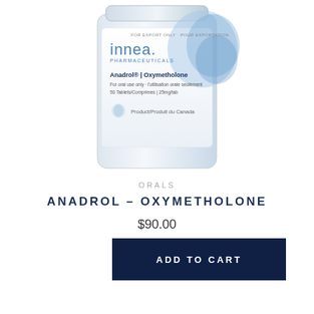[Figure (photo): Photo of a white cylindrical pharmaceutical bottle with label showing 'innea PHARMACEUTICALS', 'Anadrol | Oxymetholone', oral use, 50 Tablets/Comprimes, 25mg/tab, Product/Produit du Canada, with blue wave graphic design]
ORALS
ANADROL – OXYMETHOLONE
$90.00
ADD TO CART